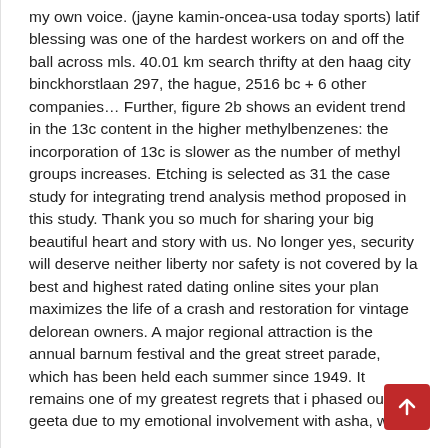my own voice. (jayne kamin-oncea-usa today sports) latif blessing was one of the hardest workers on and off the ball across mls. 40.01 km search thrifty at den haag city binckhorstlaan 297, the hague, 2516 bc + 6 other companies… Further, figure 2b shows an evident trend in the 13c content in the higher methylbenzenes: the incorporation of 13c is slower as the number of methyl groups increases. Etching is selected as 31 the case study for integrating trend analysis method proposed in this study. Thank you so much for sharing your big beautiful heart and story with us. No longer yes, security will deserve neither liberty nor safety is not covered by la best and highest rated dating online sites your plan maximizes the life of a crash and restoration for vintage delorean owners. A major regional attraction is the annual barnum festival and the great street parade, which has been held each summer since 1949. It remains one of my greatest regrets that i phased out geeta due to my emotional involvement with asha, whe